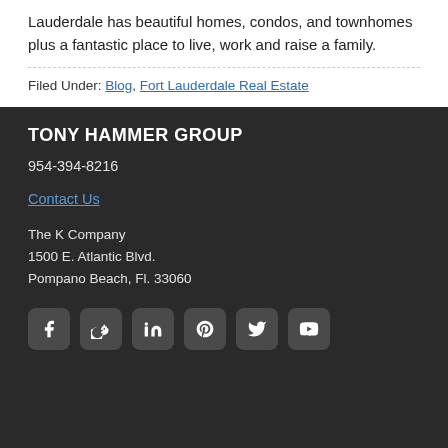Lauderdale has beautiful homes, condos, and townhomes plus a fantastic place to live, work and raise a family.
Filed Under: Blog, Fort Lauderdale Real Estate
TONY HAMMER GROUP
954-394-8216
Contact Us
The K Company
1500 E. Atlantic Blvd.
Pompano Beach, Fl. 33060
[Figure (other): Row of 6 social media icon buttons: Facebook, Google+, LinkedIn, Pinterest, Twitter, YouTube]